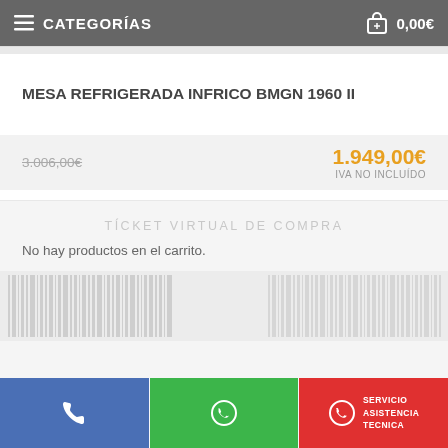≡ CATEGORÍAS   🛒 0,00€
MESA REFRIGERADA INFRICO BMGN 1960 II
3.006,00€  1.949,00€  IVA NO INCLUIDO
TÍCKET VIRTUAL DE COMPRA
No hay productos en el carrito.
[Figure (other): Barcode/product image strip, faded gray]
📞  |  WhatsApp  |  SERVICIO ASISTENCIA TECNICA